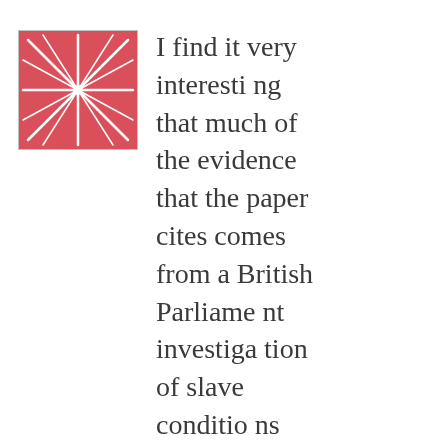[Figure (logo): Pink/red decorative logo with white leaf or branch patterns on a square background]
I find it very interesting that much of the evidence that the paper cites comes from a British Parliament investigation of slave conditions